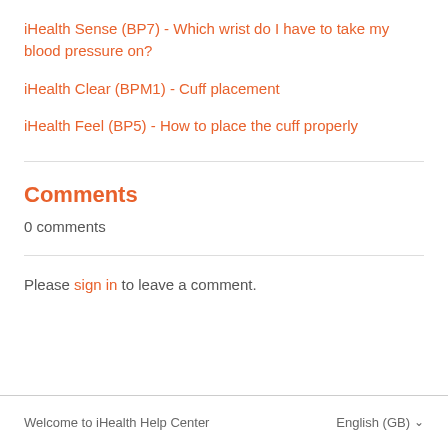iHealth Sense (BP7) - Which wrist do I have to take my blood pressure on?
iHealth Clear (BPM1) - Cuff placement
iHealth Feel (BP5) - How to place the cuff properly
Comments
0 comments
Please sign in to leave a comment.
Welcome to iHealth Help Center   English (GB)